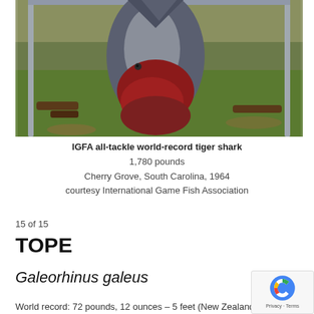[Figure (photo): A large tiger shark hanging upside down, showing bloody wounds, with grass and wooden logs visible in the background.]
IGFA all-tackle world-record tiger shark
1,780 pounds
Cherry Grove, South Carolina, 1964
courtesy International Game Fish Association
15 of 15
TOPE
Galeorhinus galeus
World record: 72 pounds, 12 ounces – 5 feet (New Zealand, 1986)